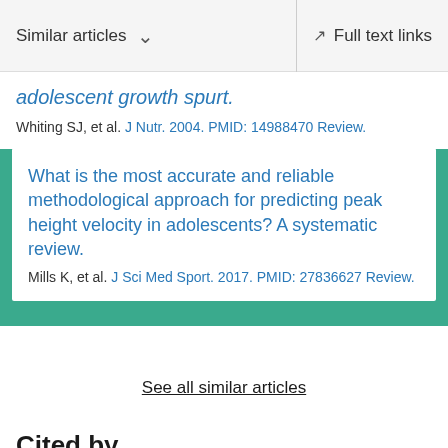Similar articles  ∨  Full text links
adolescent growth spurt.
Whiting SJ, et al. J Nutr. 2004. PMID: 14988470 Review.
What is the most accurate and reliable methodological approach for predicting peak height velocity in adolescents? A systematic review.
Mills K, et al. J Sci Med Sport. 2017. PMID: 27836627 Review.
See all similar articles
Cited by
Relationship Between Ground Reaction Force